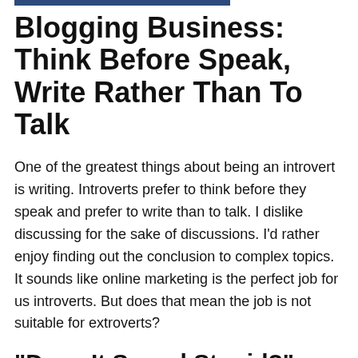Blogging Business: Think Before Speak, Write Rather Than To Talk
One of the greatest things about being an introvert is writing. Introverts prefer to think before they speak and prefer to write than to talk. I dislike discussing for the sake of discussions. I'd rather enjoy finding out the conclusion to complex topics. It sounds like online marketing is the perfect job for us introverts. But does that mean the job is not suitable for extroverts?
"Does It Sound Stupid?"
Of course, online marketing is suitable for extroverts...